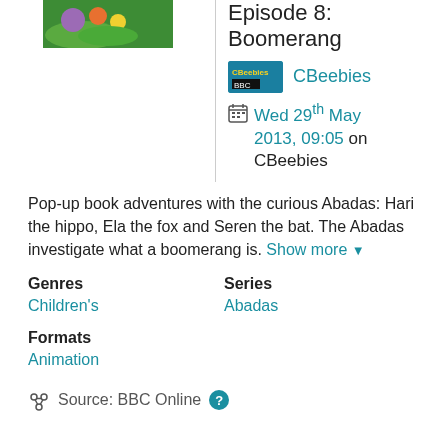[Figure (screenshot): Thumbnail image of CBeebies Abadas show with colorful cartoon characters on green background]
Episode 8: Boomerang
[Figure (logo): CBeebies BBC logo]
CBeebies
Wed 29th May 2013, 09:05 on CBeebies
Pop-up book adventures with the curious Abadas: Hari the hippo, Ela the fox and Seren the bat. The Abadas investigate what a boomerang is. Show more ▾
Genres
Series
Children's
Abadas
Formats
Animation
Source: BBC Online ?